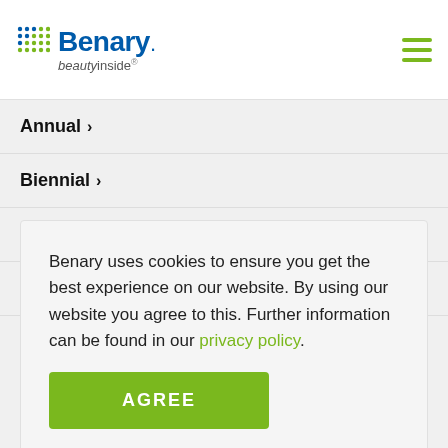Benary beautyinside
Annual >
Biennial >
Perennial >
A-Z >
Benary uses cookies to ensure you get the best experience on our website. By using our website you agree to this. Further information can be found in our privacy policy.
AGREE
Downloads >